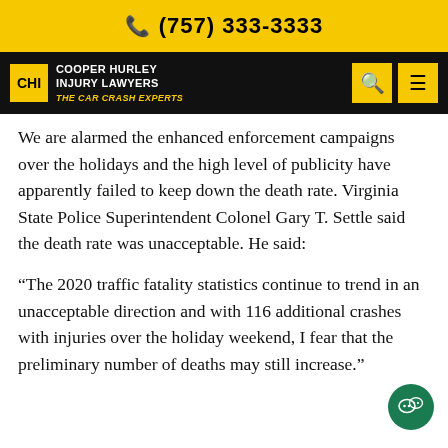(757) 333-3333
[Figure (logo): Cooper Hurley Injury Lawyers - The Car Crash Experts logo on black navigation bar with yellow search and menu icons]
We are alarmed the enhanced enforcement campaigns over the holidays and the high level of publicity have apparently failed to keep down the death rate. Virginia State Police Superintendent Colonel Gary T. Settle said the death rate was unacceptable. He said:
“The 2020 traffic fatality statistics continue to trend in an unacceptable direction and with 116 additional crashes with injuries over the holiday weekend, I fear that the preliminary number of deaths may still increase.”